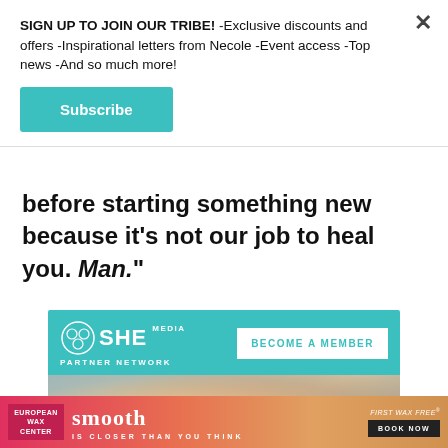SIGN UP TO JOIN OUR TRIBE! -Exclusive discounts and offers -Inspirational letters from Necole -Event access -Top news -And so much more!
Subscribe
before starting something new because it's not our job to heal you. Man."
[Figure (advertisement): SHE Media Partner Network advertisement with teal background, logo, 'BECOME A MEMBER' button, and photo of smiling woman with glasses using laptop]
[Figure (advertisement): European Wax Center 'smooth IS CLOSER THAN YOU THINK' banner ad with gradient orange-pink background and 'FIRST WAX FREE BOOK NOW' button]